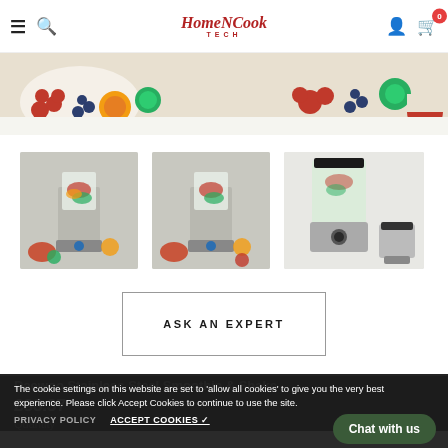HomeNCook TECH — navigation header with hamburger menu, search, logo, user account, cart (0)
[Figure (photo): Wide banner photo showing fresh fruits including raspberries, blueberries, oranges, lime slices, watermelon on a light background]
[Figure (photo): Thumbnail 1: Stainless steel blender with fruits around it]
[Figure (photo): Thumbnail 2: Stainless steel blender with fruits around it, similar to thumbnail 1]
[Figure (photo): Thumbnail 3: Blender components – glass jar, base unit, and small grinder cup shown on white background]
ASK AN EXPERT
Daewoo Stainless Steel Smoothie & Shake
£38.37
Quantity
The cookie settings on this website are set to 'allow all cookies' to give you the very best experience. Please click Accept Cookies to continue to use the site.
PRIVACY POLICY
ACCEPT COOKIES ✓
Chat with us